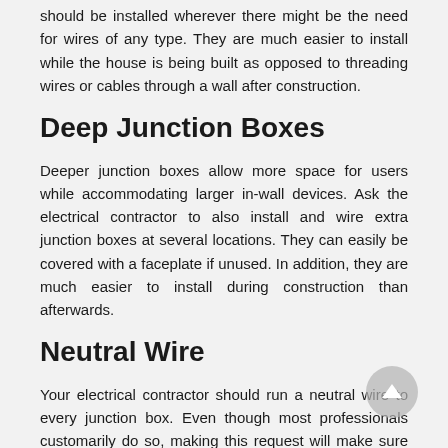should be installed wherever there might be the need for wires of any type. They are much easier to install while the house is being built as opposed to threading wires or cables through a wall after construction.
Deep Junction Boxes
Deeper junction boxes allow more space for users while accommodating larger in-wall devices. Ask the electrical contractor to also install and wire extra junction boxes at several locations. They can easily be covered with a faceplate if unused. In addition, they are much easier to install during construction than afterwards.
Neutral Wire
Your electrical contractor should run a neutral wire to every junction box. Even though most professionals customarily do so, making this request will make sure there is an available